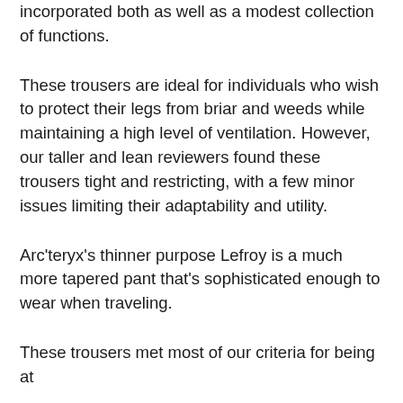incorporated both as well as a modest collection of functions.
These trousers are ideal for individuals who wish to protect their legs from briar and weeds while maintaining a high level of ventilation. However, our taller and lean reviewers found these trousers tight and restricting, with a few minor issues limiting their adaptability and utility.
Arc'teryx's thinner purpose Lefroy is a much more tapered pant that's sophisticated enough to wear when traveling.
These trousers met most of our criteria for being at